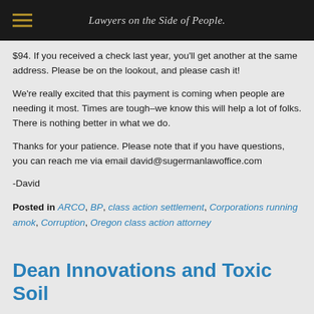Lawyers on the Side of People.
$94. If you received a check last year, you'll get another at the same address. Please be on the lookout, and please cash it!
We're really excited that this payment is coming when people are needing it most. Times are tough–we know this will help a lot of folks. There is nothing better in what we do.
Thanks for your patience. Please note that if you have questions, you can reach me via email david@sugermanlawoffice.com
-David
Posted in ARCO, BP, class action settlement, Corporations running amok, Corruption, Oregon class action attorney
Dean Innovations and Toxic Soil